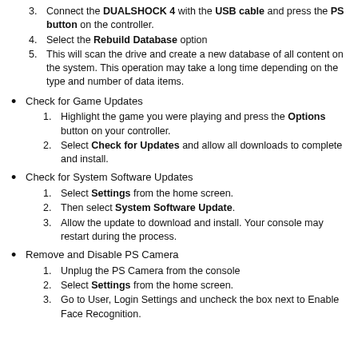3. Connect the DUALSHOCK 4 with the USB cable and press the PS button on the controller.
4. Select the Rebuild Database option
5. This will scan the drive and create a new database of all content on the system. This operation may take a long time depending on the type and number of data items.
• Check for Game Updates
1. Highlight the game you were playing and press the Options button on your controller.
2. Select Check for Updates and allow all downloads to complete and install.
• Check for System Software Updates
1. Select Settings from the home screen.
2. Then select System Software Update.
3. Allow the update to download and install. Your console may restart during the process.
• Remove and Disable PS Camera
1. Unplug the PS Camera from the console
2. Select Settings from the home screen.
3. Go to User, Login Settings and uncheck the box next to Enable Face Recognition.